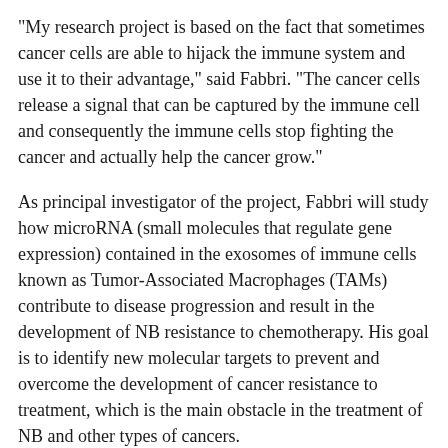"My research project is based on the fact that sometimes cancer cells are able to hijack the immune system and use it to their advantage," said Fabbri. "The cancer cells release a signal that can be captured by the immune cell and consequently the immune cells stop fighting the cancer and actually help the cancer grow."
As principal investigator of the project, Fabbri will study how microRNA (small molecules that regulate gene expression) contained in the exosomes of immune cells known as Tumor-Associated Macrophages (TAMs) contribute to disease progression and result in the development of NB resistance to chemotherapy. His goal is to identify new molecular targets to prevent and overcome the development of cancer resistance to treatment, which is the main obstacle in the treatment of NB and other types of cancers.
Within the environment where tumors grow, metastasize and develop resistance to treatment, there is a lot of communication between the cells. Exosomes -- which are like envelopes carrying